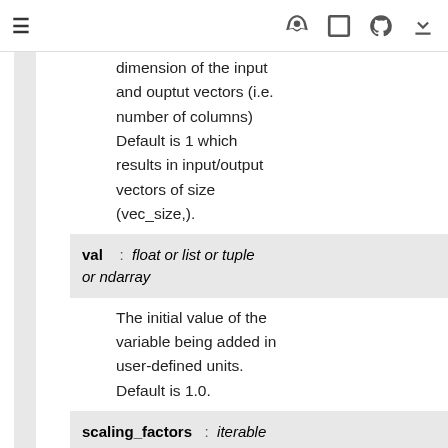≡  🚀  [ ]  GitHub  ⬇
Length of the second dimension of the input and ouptut vectors (i.e. number of columns) Default is 1 which results in input/output vectors of size (vec_size,).
val  :  float or list or tuple or ndarray
The initial value of the variable being added in user-defined units. Default is 1.0.
scaling_factors  :  iterable